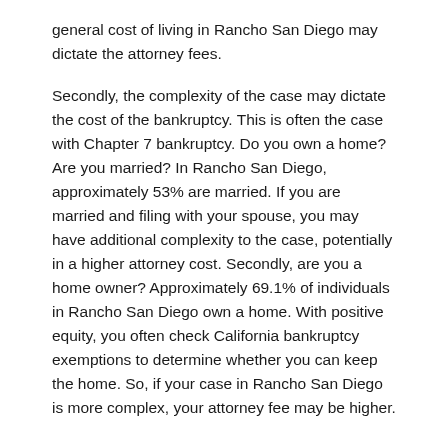general cost of living in Rancho San Diego may dictate the attorney fees.
Secondly, the complexity of the case may dictate the cost of the bankruptcy. This is often the case with Chapter 7 bankruptcy. Do you own a home? Are you married? In Rancho San Diego, approximately 53% are married. If you are married and filing with your spouse, you may have additional complexity to the case, potentially in a higher attorney cost. Secondly, are you a home owner? Approximately 69.1% of individuals in Rancho San Diego own a home. With positive equity, you often check California bankruptcy exemptions to determine whether you can keep the home. So, if your case in Rancho San Diego is more complex, your attorney fee may be higher.